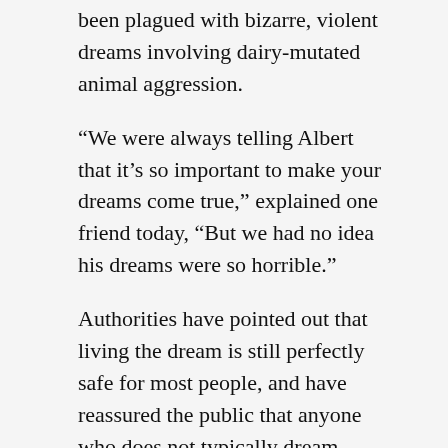been plagued with bizarre, violent dreams involving dairy-mutated animal aggression.
“We were always telling Albert that it’s so important to make your dreams come true,” explained one friend today, “But we had no idea his dreams were so horrible.”
Authorities have pointed out that living the dream is still perfectly safe for most people, and have reassured the public that anyone who does not typically dream about huge slavering cheddar animals should be perfectly safe.
“For most of us,” explained an expert, “Dreams are associated